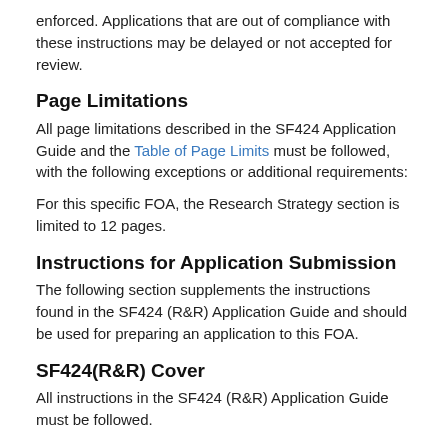enforced. Applications that are out of compliance with these instructions may be delayed or not accepted for review.
Page Limitations
All page limitations described in the SF424 Application Guide and the Table of Page Limits must be followed, with the following exceptions or additional requirements:
For this specific FOA, the Research Strategy section is limited to 12 pages.
Instructions for Application Submission
The following section supplements the instructions found in the SF424 (R&R) Application Guide and should be used for preparing an application to this FOA.
SF424(R&R) Cover
All instructions in the SF424 (R&R) Application Guide must be followed.
SF424(R&R) Project/Performance Site Locations
All instructions in the SF424 (R&R) Application Guide must be followed.
SF424(R&R) Other Project Information